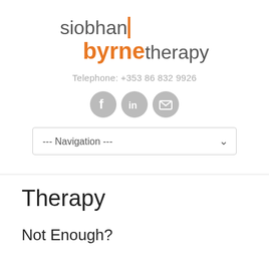[Figure (logo): Siobhan Byrne Therapy logo with orange accent. Text reads 'siobhan byrne therapy' with 'byrne' in orange bold and rest in grey.]
Telephone: +353 86 832 9926
[Figure (illustration): Three circular social media icons: Facebook, LinkedIn, and Email, all in grey.]
--- Navigation ---
Therapy
Not Enough?